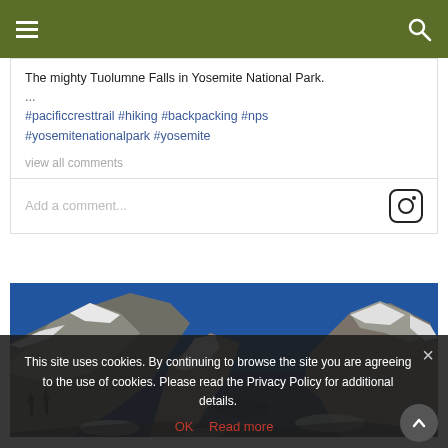Navigation header with menu and search icons
The mighty Tuolumne Falls in Yosemite National Park.
...
#pacificcresttrail #hiking #backpacking #nps #yosemitenationalpark #yosemite
view all comments
Add a comment...
[Figure (photo): Mountain landscape with snow-covered rocky peaks under a deep blue sky, with a reflective lake or icy surface in the foreground. Likely a high-altitude scene in Yosemite National Park.]
This site uses cookies. By continuing to browse the site you are agreeing to the use of cookies. Please read the Privacy Policy for additional details.
OK   Read more